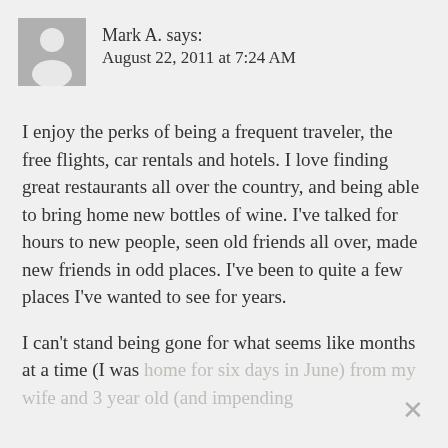[Figure (illustration): Generic user avatar: gray square with white silhouette of a person]
Mark A. says:
August 22, 2011 at 7:24 AM
I enjoy the perks of being a frequent traveler, the free flights, car rentals and hotels. I love finding great restaurants all over the country, and being able to bring home new bottles of wine. I've talked for hours to new people, seen old friends all over, made new friends in odd places. I've been to quite a few places I've wanted to see for years.
I can't stand being gone for what seems like months at a time (I was home for six days in June) from my wife and 3 year old (and impending